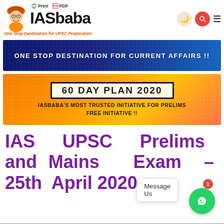Print  PDF
[Figure (logo): IASbaba logo with turbaned character and tagline: One Stop Destination for UPSC Preparation]
[Figure (infographic): Blue banner: ONE STOP DESTINATION FOR CURRENT AFFAIRS !!]
[Figure (infographic): Orange banner: 60 DAY PLAN 2020 - IASBABA'S MOST TRUSTED INITIATIVE FOR PRELIMS FREE INITIATIVE !!]
IAS UPSC Prelims and Mains Exam – 25th April 2020